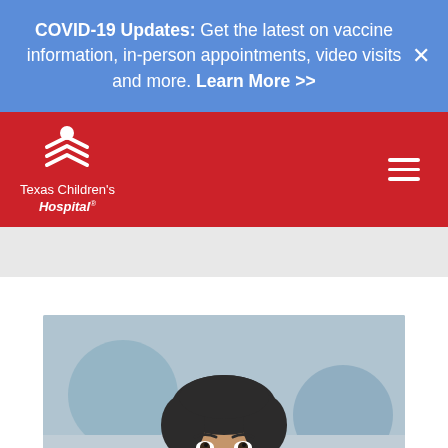COVID-19 Updates: Get the latest on vaccine information, in-person appointments, video visits and more. Learn More >>
[Figure (logo): Texas Children's Hospital logo on red navigation bar with hamburger menu icon]
[Figure (photo): Portrait photo of a male doctor with dark hair, smiling, in a clinical setting with blurred blue background]